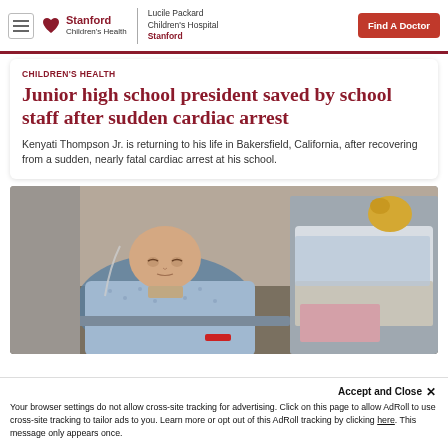Stanford Children's Health | Lucile Packard Children's Hospital Stanford | Find A Doctor
CHILDREN'S HEALTH
Junior high school president saved by school staff after sudden cardiac arrest
Kenyati Thompson Jr. is returning to his life in Bakersfield, California, after recovering from a sudden, nearly fatal cardiac arrest at his school.
[Figure (photo): Young boy (Kenyati Thompson Jr.) lying in a hospital bed wearing a hospital gown, eyes closed, with a red wristband on his wrist. Medical equipment visible in background.]
Accept and Close ×
Your browser settings do not allow cross-site tracking for advertising. Click on this page to allow AdRoll to use cross-site tracking to tailor ads to you. Learn more or opt out of this AdRoll tracking by clicking here. This message only appears once.